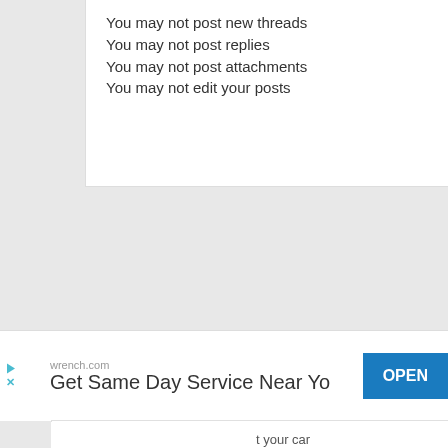You may not post new threads
You may not post replies
You may not post attachments
You may not edit your posts
BB code is On
Smilies are On
[IMG] code is On
[VIDEO] code is On
HTML code is Off
Forum Rules
[Figure (screenshot): Advertisement banner for wrench.com: 'Get Same Day Service Near You' with OPEN button]
[Figure (screenshot): Second advertisement banner for wrench.com showing partial text about car servicing with OPEN button]
Contac
All times are GMT -5. The time now is 05:4
Powered by vBulletin® Version 4.2.3
Copyright © 2022 vBulletin Solutions, Inc. All righ